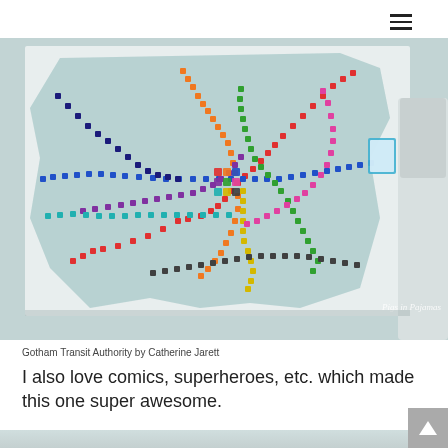[Figure (photo): A colorful quilt depicting a transit/subway map with multicolored lines on a light teal/white background, hanging on display. A person stands to the right. Watermark reads 'Pigs in Pajamas'.]
Gotham Transit Authority by Catherine Jarett
I also love comics, superheroes, etc. which made this one super awesome.
[Figure (photo): Partial view of another quilt or textile artwork at the bottom of the page.]